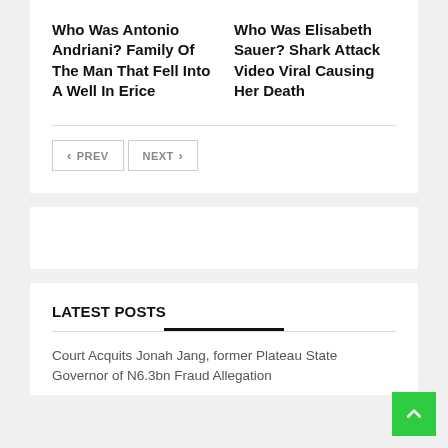Who Was Antonio Andriani? Family Of The Man That Fell Into A Well In Erice
Who Was Elisabeth Sauer? Shark Attack Video Viral Causing Her Death
PREV  NEXT
LATEST POSTS
Court Acquits Jonah Jang, former Plateau State Governor of N6.3bn Fraud Allegation